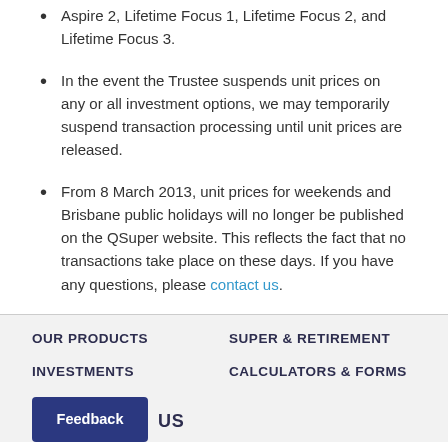Aspire 2, Lifetime Focus 1, Lifetime Focus 2, and Lifetime Focus 3.
In the event the Trustee suspends unit prices on any or all investment options, we may temporarily suspend transaction processing until unit prices are released.
From 8 March 2013, unit prices for weekends and Brisbane public holidays will no longer be published on the QSuper website. This reflects the fact that no transactions take place on these days. If you have any questions, please contact us.
OUR PRODUCTS | SUPER & RETIREMENT | INVESTMENTS | CALCULATORS & FORMS
Feedback
US